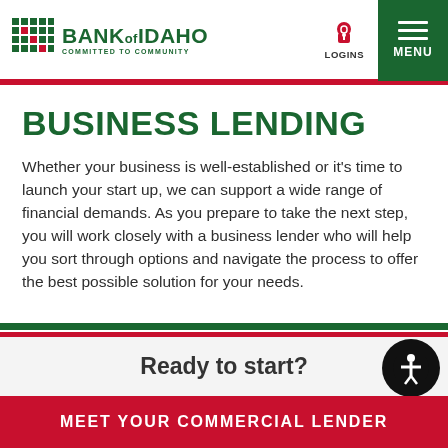BANK of IDAHO — COMMITTED TO COMMUNITY | LOGINS | MENU
BUSINESS LENDING
Whether your business is well-established or it's time to launch your start up, we can support a wide range of financial demands. As you prepare to take the next step, you will work closely with a business lender who will help you sort through options and navigate the process to offer the best possible solution for your needs.
Ready to start?
MEET YOUR COMMERCIAL LENDER